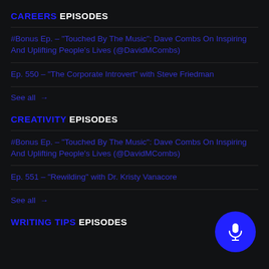CAREERS EPISODES
#Bonus Ep. – "Touched By The Music": Dave Combs On Inspiring And Uplifting People's Lives (@DavidMCombs)
Ep. 550 – "The Corporate Introvert" with Steve Friedman
See all →
CREATIVITY EPISODES
#Bonus Ep. – "Touched By The Music": Dave Combs On Inspiring And Uplifting People's Lives (@DavidMCombs)
Ep. 551 – "Rewilding" with Dr. Kristy Vanacore
See all →
WRITING TIPS EPISODES
[Figure (illustration): Blue circular microphone button in bottom right corner]